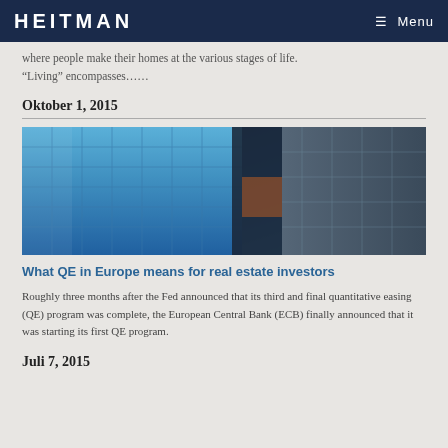HEITMAN   Menu
where people make their homes at the various stages of life. “Living” encompasses……
Oktober 1, 2015
[Figure (photo): Upward angle view of modern glass and steel commercial buildings with blue glass facades]
What QE in Europe means for real estate investors
Roughly three months after the Fed announced that its third and final quantitative easing (QE) program was complete, the European Central Bank (ECB) finally announced that it was starting its first QE program.
Juli 7, 2015